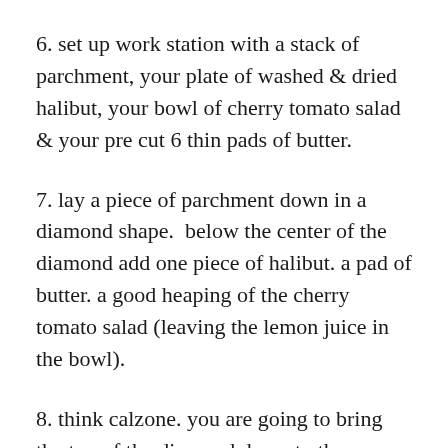6. set up work station with a stack of parchment, your plate of washed & dried halibut, your bowl of cherry tomato salad & your pre cut 6 thin pads of butter.
7. lay a piece of parchment down in a diamond shape.  below the center of the diamond add one piece of halibut. a pad of butter. a good heaping of the cherry tomato salad (leaving the lemon juice in the bowl).
8. think calzone. you are going to bring the top of the diamond down to the bottom, crease the sides and start from the left side by folding 1 inch pieces over in a fan like shape. you will make a calzone (half moon) shape when finished.  fold in corners into fan folds and try to make sure that they are relatively